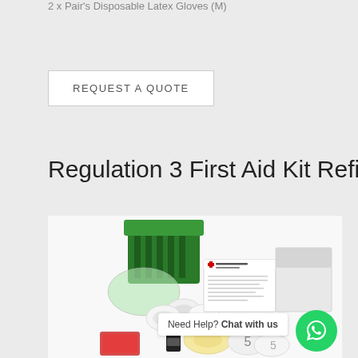2 x Pair's Disposable Latex Gloves (M)
REQUEST A QUOTE
Regulation 3 First Aid Kit Refill Only
[Figure (photo): Photo of a first aid kit refill contents including green case, bandages, gloves, first aider booklet, and various medical supplies]
Need Help? Chat with us